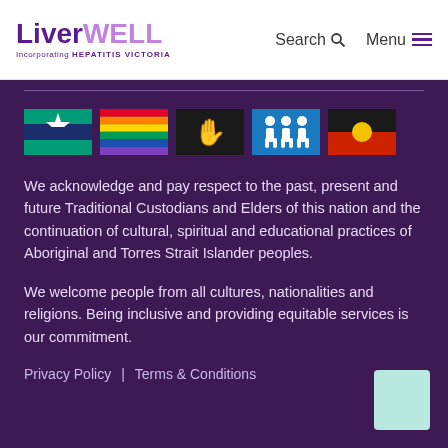LiverWELL Incorporating HEPATITIS VICTORIA | Search | Menu
[Figure (illustration): Row of five flag/symbol icons: Torres Strait Islander flag, Rainbow Pride flag, Sign language icon on black, disability/people icon on blue, Aboriginal flag]
We acknowledge and pay respect to the past, present and future Traditional Custodians and Elders of this nation and the continuation of cultural, spiritual and educational practices of Aboriginal and Torres Strait Islander peoples.
We welcome people from all cultures, nationalities and religions. Being inclusive and providing equitable services is our commitment.
Privacy Policy  |  Terms & Conditions